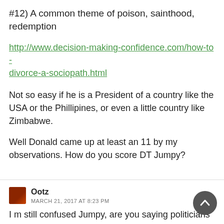#12) A common theme of poison, sainthood, redemption
http://www.decision-making-confidence.com/how-to-divorce-a-sociopath.html
Not so easy if he is a President of a country like the USA or the Phillipines, or even a little country like Zimbabwe.
Well Donald came up at least an 11 by my observations. How do you score DT Jumpy?
Ootz
MARCH 21, 2017 AT 8:23 PM
I m still confused Jumpy, are you saying politicians are all bad and always take us for a ride? And you and me are better on our own to negotiate a fair deal with the oligarchs?